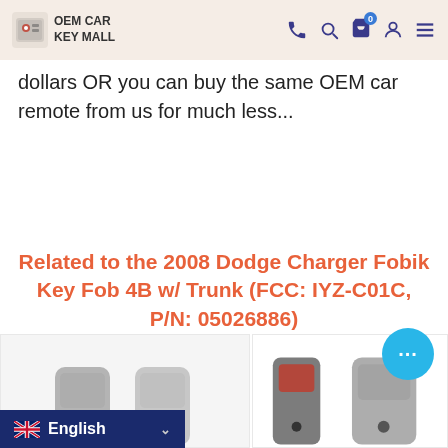OEM CAR KEY MALL
dollars OR you can buy the same OEM car remote from us for much less...
Read more
Related to the 2008 Dodge Charger Fobik Key Fob 4B w/ Trunk (FCC: IYZ-C01C, P/N: 05026886)
[Figure (photo): Two car key fobs shown in product listing thumbnails]
English